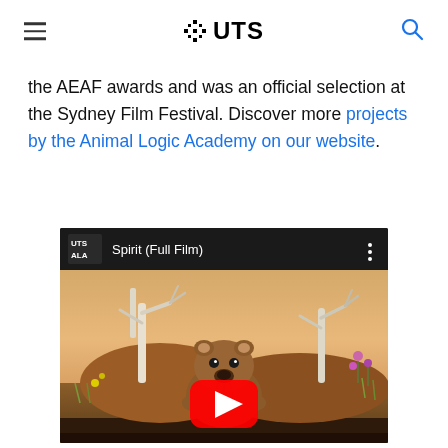UTS
the AEAF awards and was an official selection at the Sydney Film Festival. Discover more projects by the Animal Logic Academy on our website.
[Figure (screenshot): YouTube video embed showing 'Spirit (Full Film)' by UTS ALA, with a thumbnail of an animated wombat in an Australian bush setting with a red YouTube play button overlay.]